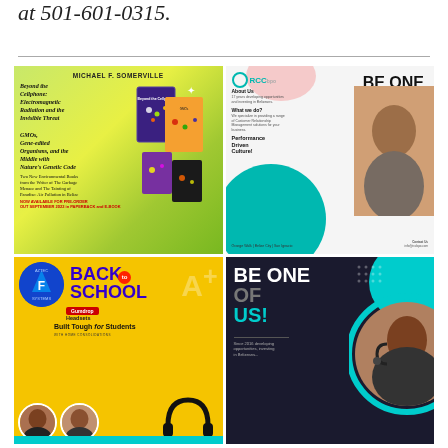at 501-601-0315.
[Figure (illustration): Book advertisement for Michael F. Somerville's two environmental books: 'Beyond the Cellphone: Electromagnetic Radiation and the Invisible Threat' and 'GMOs, Gene-edited Organisms, and the Middle with Nature's Genetic Code'. Green/yellow background with book cover images. Text: NOW AVAILABLE FOR PRE-ORDER OUT SEPTEMBER 2022 in PAPERBACK and E-BOOK.]
[Figure (illustration): RCC BPO advertisement with tagline 'BE ONE OF US!' and website www.rccbpo.com. Teal and light background with photo of woman. About Us, What we do, Performance Driven Culture! sections. Contact: info@rccbpo.com. Locations: Orange Walk | Belize City | San Ignacio.]
[Figure (illustration): Aztec Systems Back to School advertisement featuring Gumdrop Headsets, 'Built Tough for Students', yellow background with students and headset images.]
[Figure (illustration): Dark-themed 'BE ONE OF US!' advertisement. Since 2016 developing opportunities, investing in Belizeans... with teal accent and woman with headset photo.]